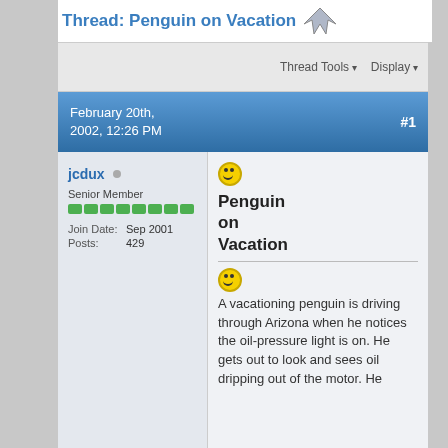Thread: Penguin on Vacation
Thread Tools  Display
February 20th, 2002, 12:26 PM
#1
jcdux
Senior Member
Join Date: Sep 2001
Posts: 429
Penguin on Vacation
A vacationing penguin is driving through Arizona when he notices the oil-pressure light is on. He gets out to look and sees oil dripping out of the motor. He